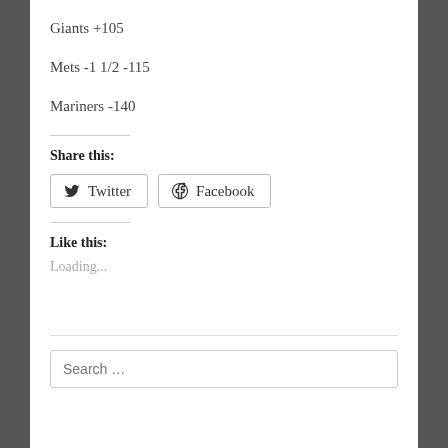Giants +105
Mets -1 1/2 -115
Mariners -140
Share this:
[Figure (other): Twitter and Facebook share buttons]
Like this:
Loading...
Search ...